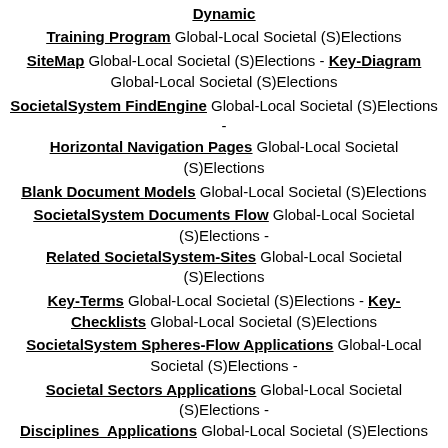Dynamic
Training Program Global-Local Societal (S)Elections
SiteMap Global-Local Societal (S)Elections - Key-Diagram Global-Local Societal (S)Elections
SocietalSystem FindEngine Global-Local Societal (S)Elections - Horizontal Navigation Pages Global-Local Societal (S)Elections
Blank Document Models Global-Local Societal (S)Elections
SocietalSystem Documents Flow Global-Local Societal (S)Elections - Related SocietalSystem-Sites Global-Local Societal (S)Elections
Key-Terms Global-Local Societal (S)Elections - Key-Checklists Global-Local Societal (S)Elections
SocietalSystem Spheres-Flow Applications Global-Local Societal (S)Elections -
Societal Sectors Applications Global-Local Societal (S)Elections - Disciplines Applications Global-Local Societal (S)Elections
Geo-Territorial Applications Global-Local Societal (S)Elections - Societal Entities Applications Global-Local Societal (S)Elections
Promo Cards Global-Local Societal (S)Elections - Promo Posters Global-Local Societal (S)Elections
3-fold Flyers Global-Local Societal (S)Elections - Promo Video Global-Local Societal (S)Elections
Expositions Global-Local Societal (S)Elections - Excursions Global-Local Societal (S)Elections
Intro-Promo Slideshow Global-Local Societal (S)Elections - Synoptic Triptych Set Global-Local Societal (S)Elections